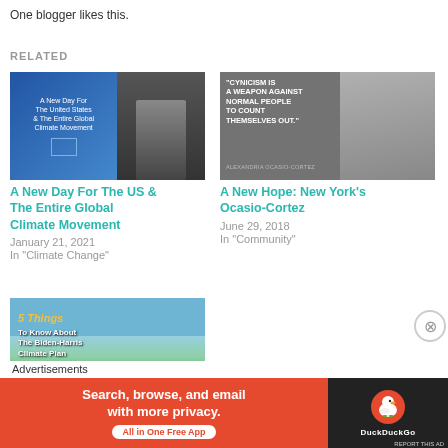One blogger likes this.
RELATED
[Figure (photo): Featured image for 'A New Day For The US & The Entire Global Climate Movement' — split image with blue graphic on left reading 'A New Day For The United States & The Entire Global Climate Movement' and a photo of Biden speaking at podium on right]
A New Day For The US & The Entire Global Climate Movement
January 21, 2021
In "Climate Change"
[Figure (photo): Quote image with text: 'Cynicism is a weapon against normal people to count themselves out.' — Alexandria Ocasio-Cortez, with photo of AOC on the right side]
A New Hope: New York's Ocasio-Cortez
June 29, 2018
In "Community"
[Figure (photo): Featured image for '5 Things To Know About The Biden-Harris Climate Plan' — showing White House and green lawn with yellow italic text overlay]
Advertisements
[Figure (infographic): DuckDuckGo advertisement banner: orange/red background with text 'Search, browse, and email with more privacy. All in One Free App' and DuckDuckGo logo on dark right panel]